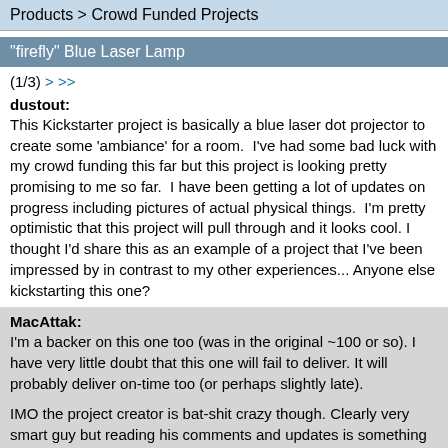Products > Crowd Funded Projects
"firefly" Blue Laser Lamp
(1/3) > >>
dustout: This Kickstarter project is basically a blue laser dot projector to create some 'ambiance' for a room.  I've had some bad luck with my crowd funding this far but this project is looking pretty promising to me so far.  I have been getting a lot of updates on progress including pictures of actual physical things.  I'm pretty optimistic that this project will pull through and it looks cool. I thought I'd share this as an example of a project that I've been impressed by in contrast to my other experiences... Anyone else kickstarting this one?
MacAttak: I'm a backer on this one too (was in the original ~100 or so). I have very little doubt that this one will fail to deliver. It will probably deliver on-time too (or perhaps slightly late). IMO the project creator is bat-shit crazy though. Clearly very smart guy but reading his comments and updates is something like watching a slow motion train wreck. Good thing he enlisted his